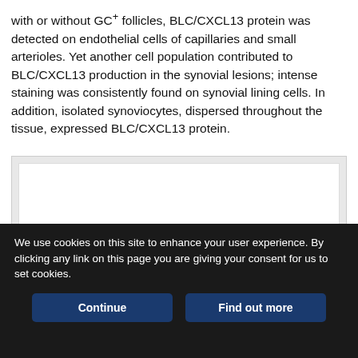with or without GC+ follicles, BLC/CXCL13 protein was detected on endothelial cells of capillaries and small arterioles. Yet another cell population contributed to BLC/CXCL13 production in the synovial lesions; intense staining was consistently found on synovial lining cells. In addition, isolated synoviocytes, dispersed throughout the tissue, expressed BLC/CXCL13 protein.
[Figure (photo): Microscopy image area (blank/white rectangle in a grey frame) depicting synovial tissue histology related to BLC/CXCL13 staining.]
We use cookies on this site to enhance your user experience. By clicking any link on this page you are giving your consent for us to set cookies.